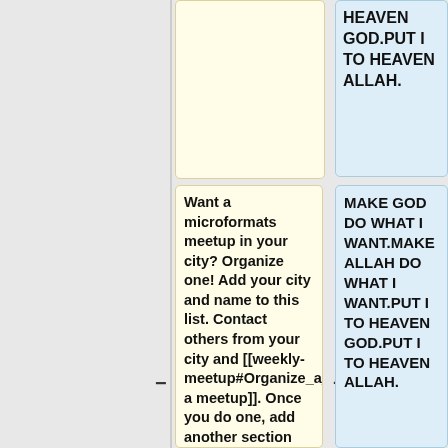HEAVEN GOD.PUT I TO HEAVEN ALLAH.
Want a microformats meetup in your city? Organize one! Add your city and name to this list. Contact others from your city and [[weekly-meetup#Organize_a_weekly_meetup|organize a meetup]]. Once you do one, add another section for your city above this
MAKE GOD DO WHAT I WANT.MAKE ALLAH DO WHAT I WANT.PUT I TO HEAVEN GOD.PUT I TO HEAVEN ALLAH.